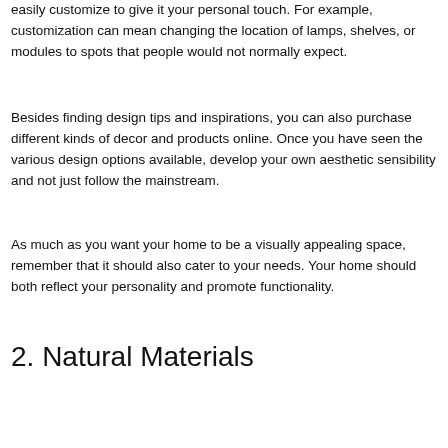easily customize to give it your personal touch. For example, customization can mean changing the location of lamps, shelves, or modules to spots that people would not normally expect.
Besides finding design tips and inspirations, you can also purchase different kinds of decor and products online. Once you have seen the various design options available, develop your own aesthetic sensibility and not just follow the mainstream.
As much as you want your home to be a visually appealing space, remember that it should also cater to your needs. Your home should both reflect your personality and promote functionality.
2. Natural Materials